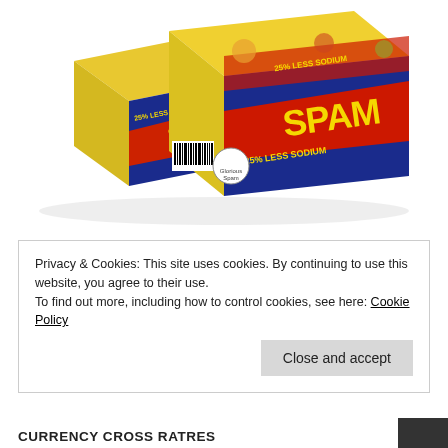[Figure (photo): A multi-pack cardboard box of SPAM 25% Less Sodium canned meat. The packaging is yellow, blue, and red with the SPAM logo prominently displayed. A barcode is visible on the lower left of the box.]
Privacy & Cookies: This site uses cookies. By continuing to use this website, you agree to their use.
To find out more, including how to control cookies, see here: Cookie Policy
Close and accept
CURRENCY CROSS RATRES